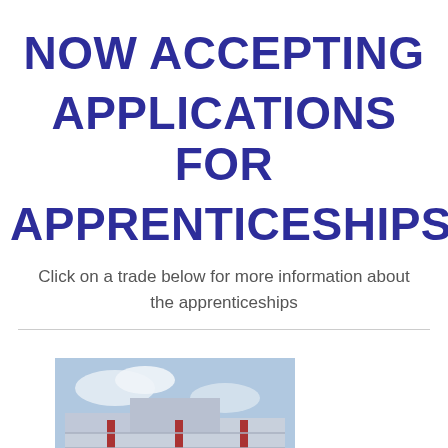NOW ACCEPTING APPLICATIONS FOR APPRENTICESHIPS!
Click on a trade below for more information about the apprenticeships
[Figure (photo): Exterior photo of a building with metal cladding and red accents, partially cropped at the bottom of the page]
[Figure (other): Gray scroll-to-top button with upward chevron arrow in bottom right corner]